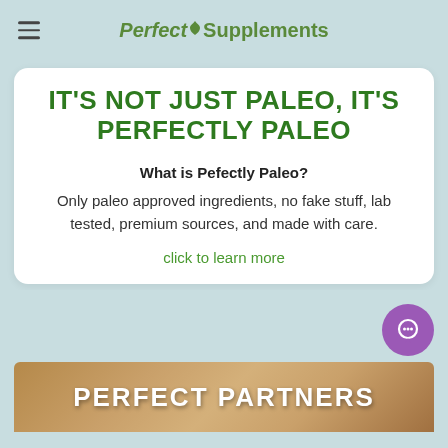Perfect Supplements
IT'S NOT JUST PALEO, IT'S PERFECTLY PALEO
What is Pefectly Paleo?
Only paleo approved ingredients, no fake stuff, lab tested, premium sources, and made with care.
click to learn more
[Figure (screenshot): Bottom banner showing wooden texture background with white bold text reading PERFECT PARTNERS]